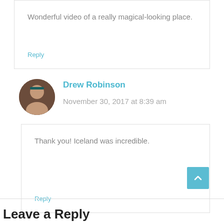Wonderful video of a really magical-looking place.
Reply
Drew Robinson
November 30, 2017 at 8:39 am
Thank you! Iceland was incredible.
Reply
Leave a Reply